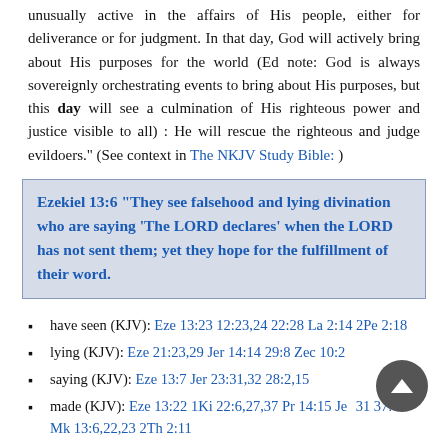unusually active in the affairs of His people, either for deliverance or for judgment. In that day, God will actively bring about His purposes for the world (Ed note: God is always sovereignly orchestrating events to bring about His purposes, but this day will see a culmination of His righteous power and justice visible to all) : He will rescue the righteous and judge evildoers." (See context in The NKJV Study Bible: )
Ezekiel 13:6 "They see falsehood and lying divination who are saying 'The LORD declares' when the LORD has not sent them; yet they hope for the fulfillment of their word.
have seen (KJV): Eze 13:23 12:23,24 22:28 La 2:14 2Pe 2:18
lying (KJV): Eze 21:23,29 Jer 14:14 29:8 Zec 10:2
saying (KJV): Eze 13:7 Jer 23:31,32 28:2,15
made (KJV): Eze 13:22 1Ki 22:6,27,37 Pr 14:15 Jer 31 37:19 Mk 13:6,22,23 2Th 2:11